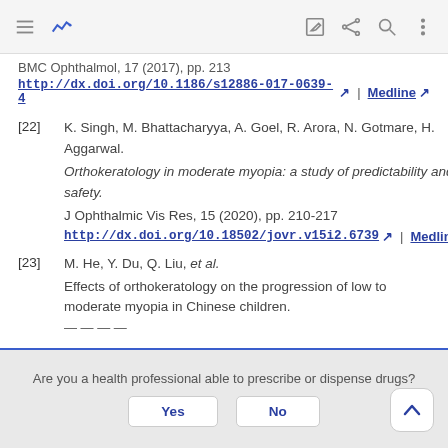Toolbar with navigation icons
BMC Ophthalmol, 17 (2017), pp. 213
http://dx.doi.org/10.1186/s12886-017-0639-4 [arrow] | Medline [arrow]
[22] K. Singh, M. Bhattacharyya, A. Goel, R. Arora, N. Gotmare, H. Aggarwal.
Orthokeratology in moderate myopia: a study of predictability and safety.
J Ophthalmic Vis Res, 15 (2020), pp. 210-217
http://dx.doi.org/10.18502/jovr.v15i2.6739 | Medline
[23] M. He, Y. Du, Q. Liu, et al.
Effects of orthokeratology on the progression of low to moderate myopia in Chinese children.
Are you a health professional able to prescribe or dispense drugs?
Yes   No